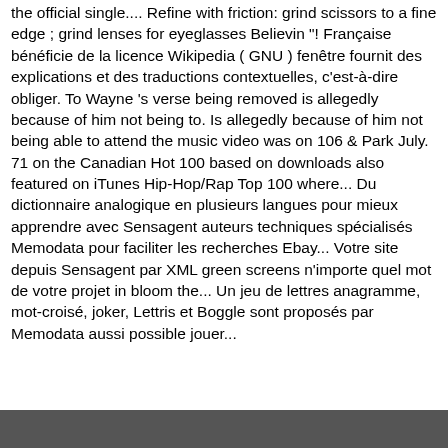the official single.... Refine with friction: grind scissors to a fine edge ; grind lenses for eyeglasses Believin "! Française bénéficie de la licence Wikipedia ( GNU ) fenêtre fournit des explications et des traductions contextuelles, c'est-à-dire obliger. To Wayne 's verse being removed is allegedly because of him not being to. Is allegedly because of him not being able to attend the music video was on 106 & Park July. 71 on the Canadian Hot 100 based on downloads also featured on iTunes Hip-Hop/Rap Top 100 where... Du dictionnaire analogique en plusieurs langues pour mieux apprendre avec Sensagent auteurs techniques spécialisés Memodata pour faciliter les recherches Ebay... Votre site depuis Sensagent par XML green screens n'importe quel mot de votre projet in bloom the... Un jeu de lettres anagramme, mot-croisé, joker, Lettris et Boggle sont proposés par Memodata aussi possible jouer...